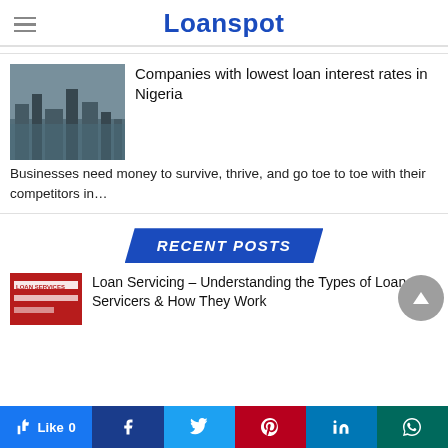Loanspot
Companies with lowest loan interest rates in Nigeria
Businesses need money to survive, thrive, and go toe to toe with their competitors in…
RECENT POSTS
Loan Servicing – Understanding the Types of Loan Servicers & How They Work
[Figure (screenshot): City skyline aerial photo thumbnail]
[Figure (screenshot): Loan Servicing article thumbnail with red background]